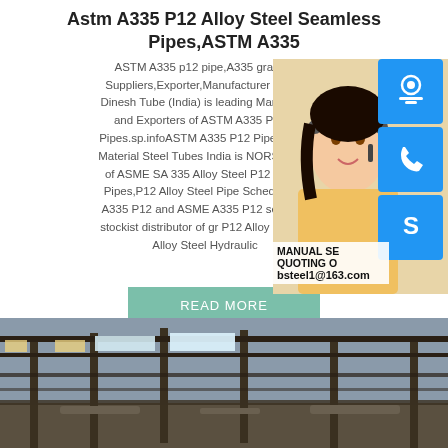Astm A335 P12 Alloy Steel Seamless Pipes,ASTM A335
ASTM A335 p12 pipe,A335 grade p Suppliers,Exporter,Manufacturer Stocki Dinesh Tube (India) is leading Manufactu and Exporters of ASTM A335 P12 A Pipes.sp.infoASTM A335 P12 Pipe,P12 S Material Steel Tubes India is NORSOK ap of ASME SA 335 Alloy Steel P12 Tubes Pipes,P12 Alloy Steel Pipe Schedule 30 A335 P12 and ASME A335 P12 seamles stockist distributor of gr P12 Alloy Steel S Alloy Steel Hydraulic
[Figure (photo): Woman with headset customer service photo with blue icon panels for chat, phone, and Skype on right side, overlay text MANUAL SE, QUOTING O, bsteel1@163.com]
READ MORE
[Figure (photo): Interior of a steel factory/warehouse with structural beams and natural light]